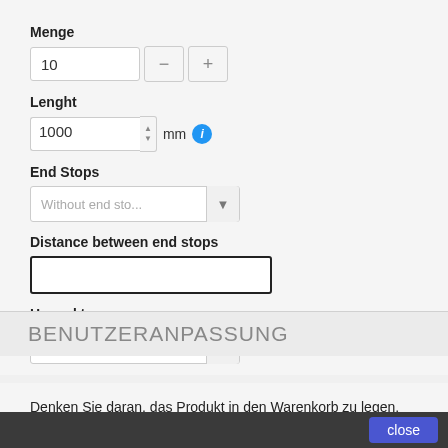Menge
[Figure (screenshot): Quantity input field showing value 10, with minus and plus stepper buttons]
Lenght
[Figure (screenshot): Length input field showing 1000, with up/down spinner, mm label and info icon]
End Stops
[Figure (screenshot): Dropdown selector showing 'Without end sto...']
Distance between end stops
[Figure (screenshot): Empty text input field with thick black border]
Hazard tape
[Figure (screenshot): Dropdown selector showing 'Without tape']
BENUTZERANPASSUNG
Denken Sie daran, das Produkt in den Warenkorb zu legen, nachdem Sie Ihre persönlichen Daten gespeichert haben.